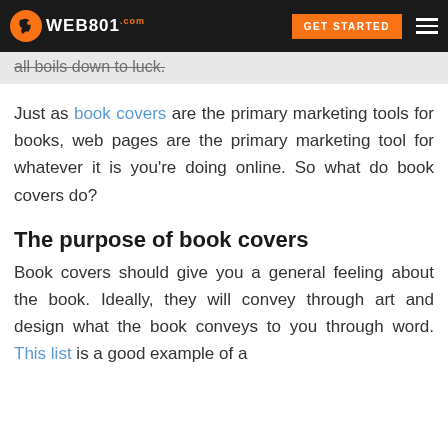WEB801.com | GET STARTED
all boils down to luck.
Just as book covers are the primary marketing tools for books, web pages are the primary marketing tool for whatever it is you're doing online. So what do book covers do?
The purpose of book covers
Book covers should give you a general feeling about the book. Ideally, they will convey through art and design what the book conveys to you through word. This list is a good example of a